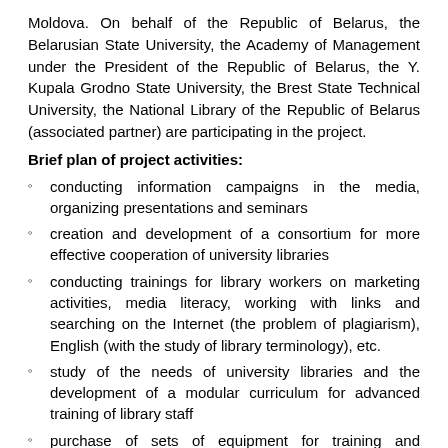Moldova. On behalf of the Republic of Belarus, the Belarusian State University, the Academy of Management under the President of the Republic of Belarus, the Y. Kupala Grodno State University, the Brest State Technical University, the National Library of the Republic of Belarus (associated partner) are participating in the project.
Brief plan of project activities:
conducting information campaigns in the media, organizing presentations and seminars
creation and development of a consortium for more effective cooperation of university libraries
conducting trainings for library workers on marketing activities, media literacy, working with links and searching on the Internet (the problem of plagiarism), English (with the study of library terminology), etc.
study of the needs of university libraries and the development of a modular curriculum for advanced training of library staff
purchase of sets of equipment for training and implementation of online courses
formation of a long-term training system for university libraries at the national level and among the countries of the